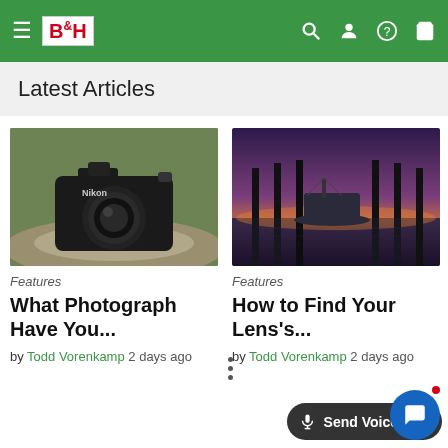B&H
Latest Articles
[Figure (photo): Nikon DSLR camera sitting on a rock with blurred green background]
Features
What Photograph Have You...
by Todd Vorenkamp  2 days ago
[Figure (photo): Boats docked at a marina during sunset with pier pilings reflected in calm water]
Features
How to Find Your Lens's...
by Todd Vorenkamp  2 days ago
Send Voicemail